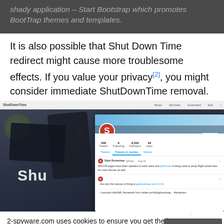shady application – Start Bootstrap which promotes BootTrap themes and templates.
It is also possible that Shut Down Time redirect might cause more troublesome effects. If you value your privacy[2], you might consider immediate ShutDownTime removal.
[Figure (screenshot): Screenshot of the ShutDownTime website with a dark background showing phones and text 'Shu', overlaid with a Twitter/social media profile page for 'Start Bootstrap' showing tweets and follower stats]
2-spyware.com uses cookies to ensure you get the best experience.
Privacy policy
Agree